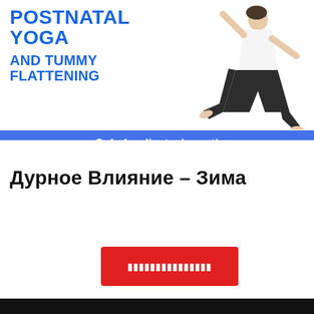[Figure (illustration): Banner showing a woman in a yoga pose (warrior pose) on white background with blue bold text reading 'POSTNATAL YOGA AND TUMMY FLATTENING' and a blue bar below saying 'Safe for diastasis recti']
Дурное Влияние – Зима
[Figure (other): Red button with obfuscated/encoded white text]
[Figure (other): Dark/black bottom bar strip]